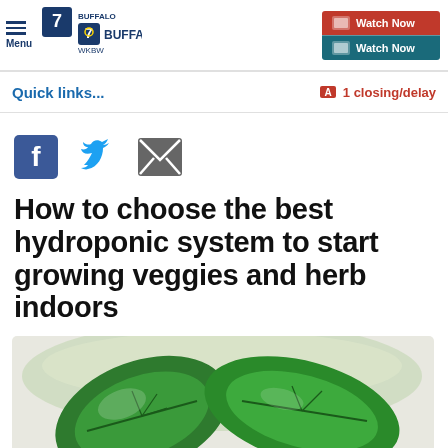Menu | 7 Buffalo WKBW | BUFFALO | Watch Now | Watch Now
Quick links...
1 closing/delay
[Figure (infographic): Social media share icons: Facebook (blue square with f), Twitter (blue bird), Email (grey envelope)]
How to choose the best hydroponic system to start growing veggies and herb indoors
[Figure (photo): Close-up photo of green plant leaves (spinach or similar) on a light background]